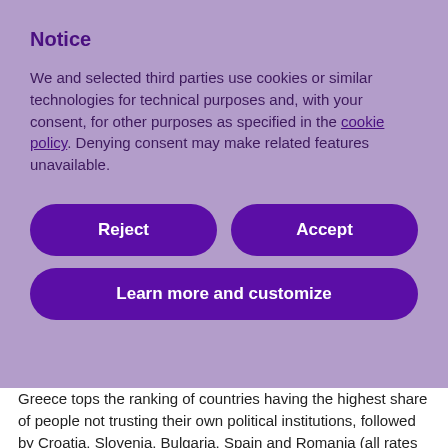Notice
We and selected third parties use cookies or similar technologies for technical purposes and, with your consent, for other purposes as specified in the cookie policy. Denying consent may make related features unavailable.
Reject
Accept
Learn more and customize
Greece tops the ranking of countries having the highest share of people not trusting their own political institutions, followed by Croatia, Slovenia, Bulgaria, Spain and Romania (all rates over 50 percent). At the other end of the spectrum, we find the Nordic countries, Finland, Sweden and Denmark, and the Netherlands. Finland tops the ranking with only 11 percent of its population having low trust in their political institutions.